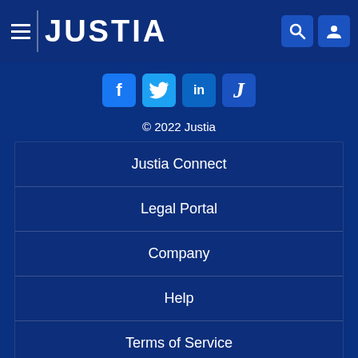JUSTIA
[Figure (logo): Justia logo with hamburger menu, JUSTIA wordmark, search icon, and user icon on dark blue header bar]
[Figure (infographic): Social media icons row: Facebook (f), Twitter (bird), LinkedIn (in), Justia (J)]
© 2022 Justia
Justia Connect
Legal Portal
Company
Help
Terms of Service
Privacy Policy
Marketing Solutions